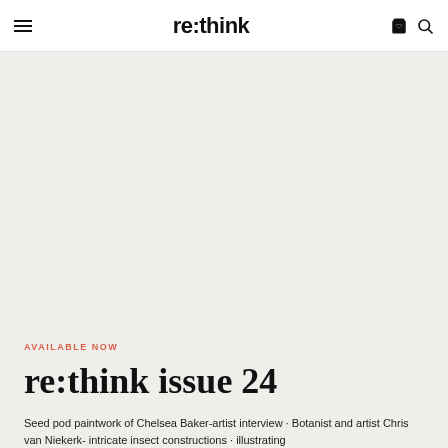re:think
AVAILABLE NOW
re:think issue 24
Seed pod paintwork of Chelsea Baker-artist interview · Botanist and artist Chris van Niekerk- intricate insect constructions · illustrating